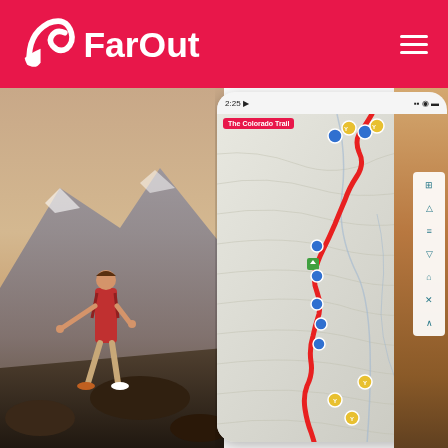[Figure (logo): FarOut app logo - white text and icon on red/pink background header bar]
[Figure (photo): Hiker with red backpack balancing on rocky mountain terrain with mountain peaks in background]
[Figure (screenshot): FarOut mobile app screenshot showing The Colorado Trail map with red trail line and blue waypoint markers on topographic map]